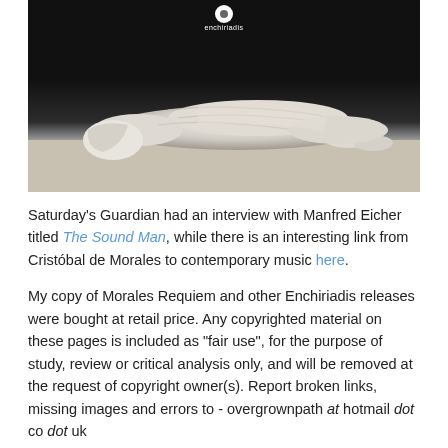[Figure (photo): Black and white photograph of a white marble sculpture of a prone figure (likely a funerary sculpture) lying face down on a flat surface, draped in cloth with arms bound behind. The figure is viewed from the side against a dark background. A small white circular logo with the text 'enchiriadis' appears at the top center of the image.]
Saturday's Guardian had an interview with Manfred Eicher titled The Sound Man, while there is an interesting link from Cristóbal de Morales to contemporary music here.
My copy of Morales Requiem and other Enchiriadis releases were bought at retail price. Any copyrighted material on these pages is included as "fair use", for the purpose of study, review or critical analysis only, and will be removed at the request of copyright owner(s). Report broken links, missing images and errors to - overgrownpath at hotmail dot co dot uk